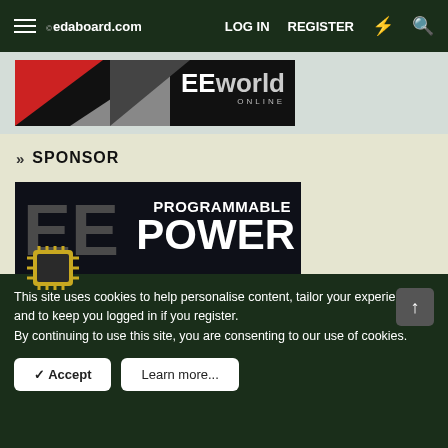edaboard.com | LOG IN | REGISTER
[Figure (screenshot): EEWorld Online banner advertisement with red, gray, and dark triangular shapes and EEworld Online logo text]
» SPONSOR
[Figure (screenshot): EE Programmable Power advertisement banner - Electronics Classroom. Power supply information for engineers. Dark background with large EE text and chip icon.]
This site uses cookies to help personalise content, tailor your experience and to keep you logged in if you register. By continuing to use this site, you are consenting to our use of cookies.